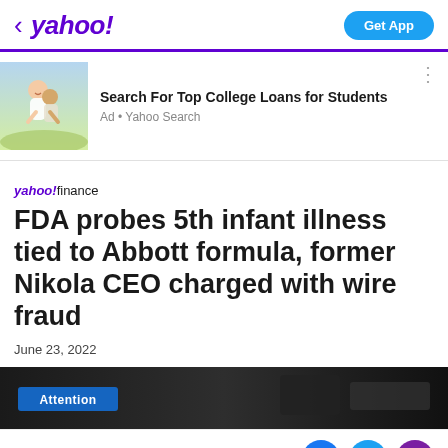< yahoo!  Get App
[Figure (photo): Photo of two young women, one giving the other a piggyback ride, smiling outdoors in a field]
Search For Top College Loans for Students
Ad • Yahoo Search
yahoo!finance
FDA probes 5th infant illness tied to Abbott formula, former Nikola CEO charged with wire fraud
June 23, 2022
[Figure (photo): Dark background image with a blue 'Attention' badge/label visible]
View comments